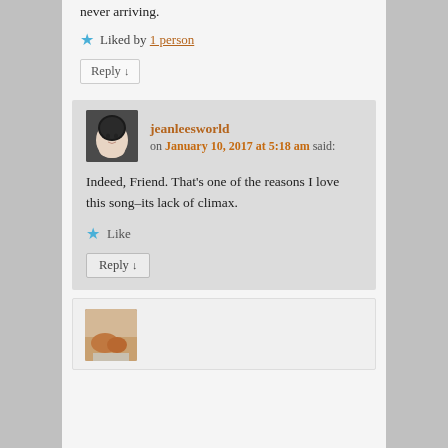never arriving.
Liked by 1 person
Reply ↓
jeanleesworld on January 10, 2017 at 5:18 am said:
Indeed, Friend. That's one of the reasons I love this song–its lack of climax.
Like
Reply ↓
[Figure (photo): Profile avatar showing a person's face in black and white]
[Figure (photo): Small photo of a cat or animal resting on a floor]